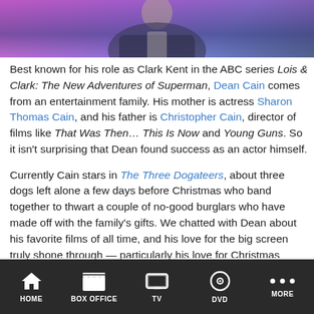[Figure (photo): Photo of Dean Cain, partially visible from shoulders up, wearing a dark blazer, with a purple/pink blurred background]
Best known for his role as Clark Kent in the ABC series Lois & Clark: The New Adventures of Superman, Dean Cain comes from an entertainment family. His mother is actress Sharon Thomas Cain, and his father is Christopher Cain, director of films like That Was Then… This Is Now and Young Guns. So it isn't surprising that Dean found success as an actor himself.
Currently Cain stars in The Three Dogateers, about three dogs left alone a few days before Christmas who band together to thwart a couple of no-good burglars who have made off with the family's gifts. We chatted with Dean about his favorite films of all time, and his love for the big screen truly shone through — particularly his love for Christmas movies. Read on to see what he chose.
HOME  BOX OFFICE  TV  DVD  MORE